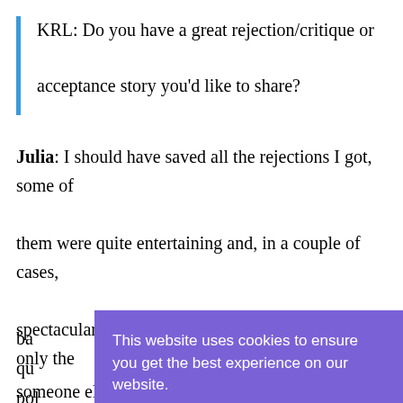KRL: Do you have a great rejection/critique or acceptance story you'd like to share?
Julia: I should have saved all the rejections I got, some of them were quite entertaining and, in a couple of cases, spectacularly rude. One agent wrote back with only the words “Do try someone else.” Another said, “I didn’t find this qu[ite what I was looking for.” I wrote ba[ck] qu[oting the agent’s own submission] pol[icy…] The[n I noticed the letter had] someone else’s name on it. I contacted the agent and said that
This website uses cookies to ensure you get the best experience on our website.
Learn more
Got it